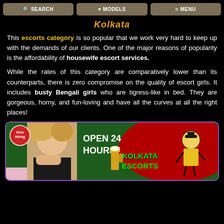SEARCH | MODELS | MENU
Kolkata
This escorts category is so popular that we work very hard to keep up with the demands of our clients. One of the major reasons of popularity is the affordability of housewife escort services.
While the rates of this category are comparatively lower than its counterparts, there is zero compromise on the quality of escort girls. It includes busty Bengali girls who are tigress-like in bed. They are gorgeous, horny, and fun-loving and have all the curves at all the right places!
[Figure (photo): Advertisement banner for Kolkata Escorts showing a blonde woman, text 'Now Hiring', 'OPEN 24 HOURS', 'KOLKATA ESCORTS' in green, a beer mug, and cartoon characters on a red oval background]